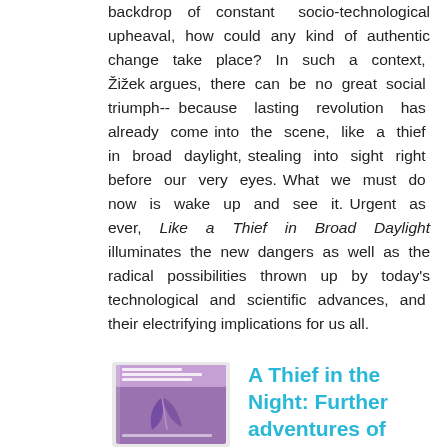backdrop of constant socio-technological upheaval, how could any kind of authentic change take place? In such a context, Žižek argues, there can be no great social triumph--because lasting revolution has already come into the scene, like a thief in broad daylight, stealing into sight right before our very eyes. What we must do now is wake up and see it. Urgent as ever, Like a Thief in Broad Daylight illuminates the new dangers as well as the radical possibilities thrown up by today's technological and scientific advances, and their electrifying implications for us all.
[Figure (photo): Book cover thumbnail for 'A Thief in the Night' showing a purple/violet cover with a feather or leaf illustration]
A Thief in the Night: Further adventures of